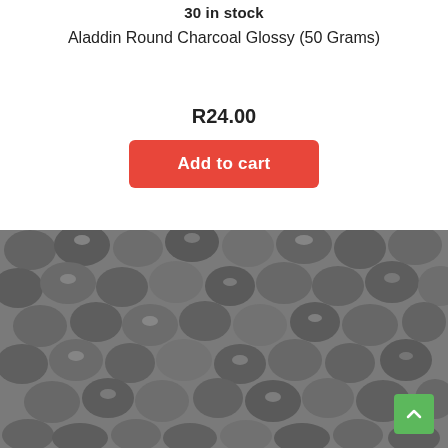30 in stock
Aladdin Round Charcoal Glossy (50 Grams)
R24.00
Add to cart
[Figure (photo): Close-up photo of small round glossy dark charcoal pellets/beads piled together]